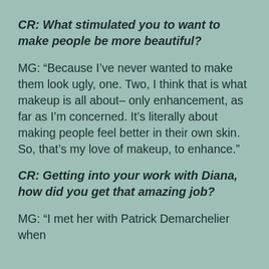CR: What stimulated you to want to make people be more beautiful?
MG: “Because I’ve never wanted to make them look ugly, one. Two, I think that is what makeup is all about– only enhancement, as far as I’m concerned. It’s literally about making people feel better in their own skin. So, that’s my love of makeup, to enhance.”
CR: Getting into your work with Diana, how did you get that amazing job?
MG: “I met her with Patrick Demarchelier when